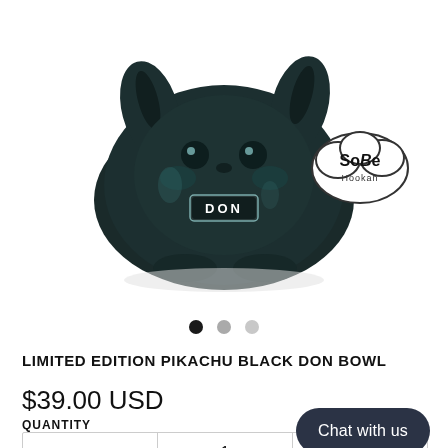[Figure (photo): A shiny dark black ceramic hookah bowl shaped like Pikachu, with 'DON' written on a label on its chest. A cloud-shaped 'SoBe Hookah' logo is visible in the upper right.]
LIMITED EDITION PIKACHU BLACK DON BOWL
$39.00 USD
QUANTITY
- 1 +
Chat with us